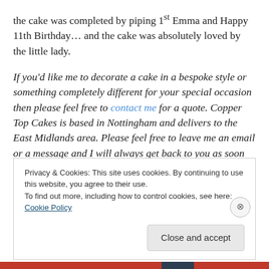the cake was completed by piping 1st Emma and Happy 11th Birthday… and the cake was absolutely loved by the little lady.
If you'd like me to decorate a cake in a bespoke style or something completely different for your special occasion then please feel free to contact me for a quote. Copper Top Cakes is based in Nottingham and delivers to the East Midlands area. Please feel free to leave me an email or a message and I will always get back to you as soon as possible.
Privacy & Cookies: This site uses cookies. By continuing to use this website, you agree to their use. To find out more, including how to control cookies, see here: Cookie Policy
Close and accept